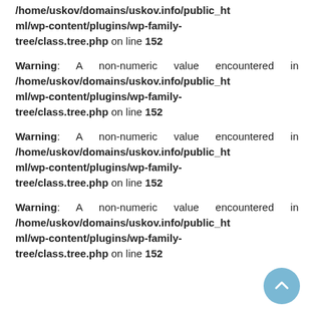/home/uskov/domains/uskov.info/public_html/wp-content/plugins/wp-family-tree/class.tree.php on line 152
Warning: A non-numeric value encountered in /home/uskov/domains/uskov.info/public_html/wp-content/plugins/wp-family-tree/class.tree.php on line 152
Warning: A non-numeric value encountered in /home/uskov/domains/uskov.info/public_html/wp-content/plugins/wp-family-tree/class.tree.php on line 152
Warning: A non-numeric value encountered in /home/uskov/domains/uskov.info/public_html/wp-content/plugins/wp-family-tree/class.tree.php on line 152